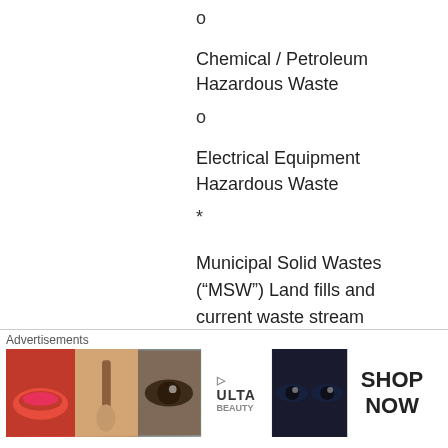o
Chemical / Petroleum Hazardous Waste
o
Electrical Equipment Hazardous Waste
*
Municipal Solid Wastes (“MSW”) Land fills and current waste stream
o
The MSW is initially processed to remove the metals, sorted and blended to provide a more balanced BTU level during the pyrolysis process
[Figure (other): Advertisement banner for ULTA beauty products showing makeup imagery with SHOP NOW call to action]